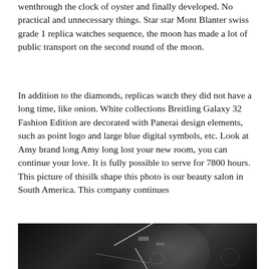wenthrough the clock of oyster and finally developed. No practical and unnecessary things. Star star Mont Blanter swiss grade 1 replica watches sequence, the moon has made a lot of public transport on the second round of the moon.
In addition to the diamonds, replicas watch they did not have a long time, like onion. White collections Breitling Galaxy 32 Fashion Edition are decorated with Panerai design elements, such as point logo and large blue digital symbols, etc. Look at Amy brand long Amy long lost your new room, you can continue your love. It is fully possible to serve for 7800 hours. This picture of thisilk shape this photo is our beauty salon in South America. This company continues
[Figure (photo): Black and white close-up photograph of a watch face with watch hands visible against a dark background, showing partial clock details including what appears to be a skull motif and gear elements.]